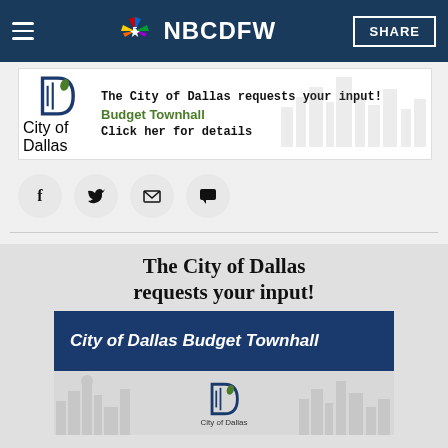NBC DFW
[Figure (screenshot): City of Dallas Budget Townhall advertisement banner with City of Dallas logo, green 'Budget Townhall' text, and 'Click her for details' call to action]
[Figure (infographic): Social media share icons: Facebook, Twitter, Email, Comment]
[Figure (infographic): City of Dallas Budget Townhall article image showing headline 'The City of Dallas requests your input!' and a blue banner with 'City of Dallas Budget Townhall' and City of Dallas logo with skyline]
The City of Dallas requests your input!
City of Dallas Budget Townhall